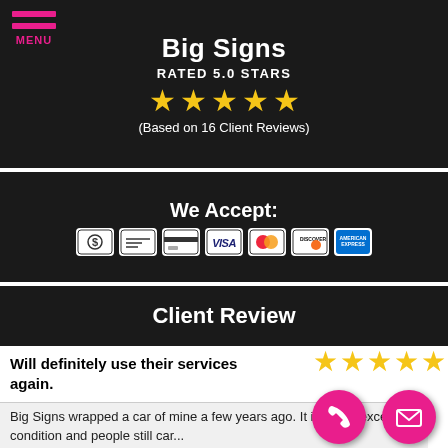Big Signs
RATED 5.0 STARS
[Figure (other): Five gold stars rating]
(Based on 16 Client Reviews)
We Accept:
[Figure (other): Payment method icons: cash, check, credit card, VISA, Mastercard, Discover, American Express]
Client Review
Will definitely use their services again.
[Figure (other): Five gold stars rating for client review]
Big Signs wrapped a car of mine a few years ago. It is still in excellent condition and people still car...